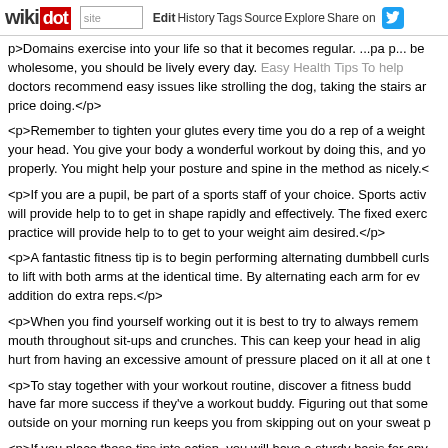wikidot | site | Edit | History | Tags | Source | Explore | Share on [Twitter]
p>Domains exercise into your life so that it becomes regular. To p... be wholesome, you should be lively every day. Easy Health Tips To help doctors recommend easy issues like strolling the dog, taking the stairs ar... price doing.</p>
<p>Remember to tighten your glutes every time you do a rep of a weight... your head. You give your body a wonderful workout by doing this, and yo... properly. You might help your posture and spine in the method as nicely.<
<p>If you are a pupil, be part of a sports staff of your choice. Sports activ... will provide help to to get in shape rapidly and effectively. The fixed exerc... practice will provide help to to get to your weight aim desired.</p>
<p>A fantastic fitness tip is to begin performing alternating dumbbell curls... to lift with both arms at the identical time. By alternating each arm for ev... addition do extra reps.</p>
<p>When you find yourself working out it is best to try to always remem... mouth throughout sit-ups and crunches. This can keep your head in alig... hurt from having an excessive amount of pressure placed on it all at one t
<p>To stay together with your workout routine, discover a fitness budd... have far more success if they've a workout buddy. Figuring out that some... outside on your morning run keeps you from skipping out on your sweat p
<p>If you place these tips into action, you will have a sturdy basis for any... part of your life by committing to the days and instances that you will trai... will make you're feeling great! What are you ready for?</p> - Comments:
Let Us Instruct You On The Suggestions To Co...